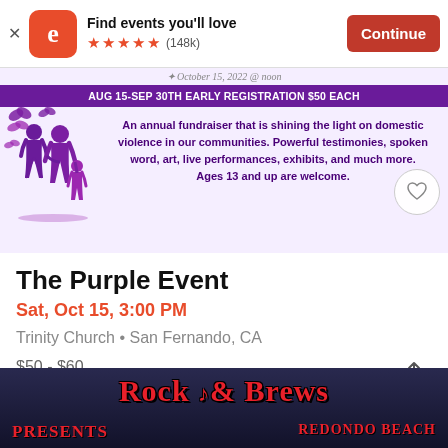[Figure (screenshot): App store banner for Eventbrite app with orange icon, star rating, and Continue button. Shows 'Find events you'll love' with 5 stars and (148k) rating.]
[Figure (photo): The Purple Event event banner with purple butterflies, family silhouette, early registration text 'AUG 15-SEP 30TH EARLY REGISTRATION $50 EACH' and event description about domestic violence fundraiser.]
The Purple Event
Sat, Oct 15, 3:00 PM
Trinity Church • San Fernando, CA
$50 - $60
[Figure (photo): Rock & Brews Presents banner with red stylized text on dark background, showing Redondo Beach location.]